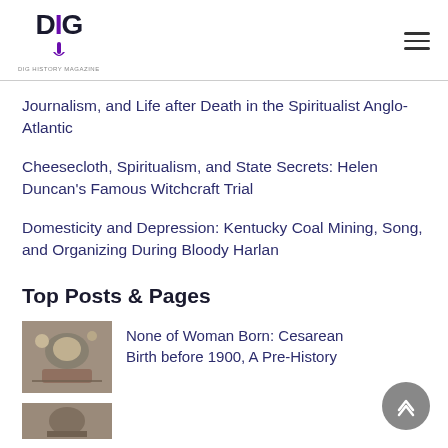DIG logo and navigation menu
Journalism, and Life after Death in the Spiritualist Anglo-Atlantic
Cheesecloth, Spiritualism, and State Secrets: Helen Duncan's Famous Witchcraft Trial
Domesticity and Depression: Kentucky Coal Mining, Song, and Organizing During Bloody Harlan
Top Posts & Pages
[Figure (illustration): Small historical illustration thumbnail for Cesarean Birth article]
None of Woman Born: Cesarean Birth before 1900, A Pre-History
[Figure (illustration): Small historical illustration thumbnail for second article (partially visible)]